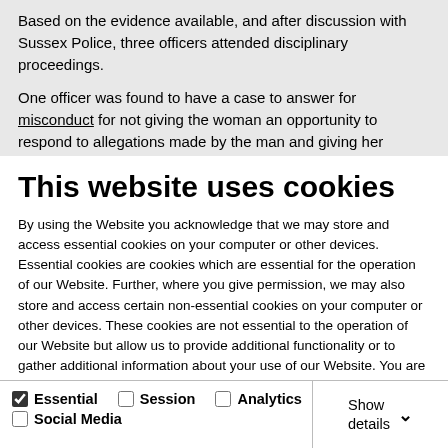Based on the evidence available, and after discussion with Sussex Police, three officers attended disciplinary proceedings.
One officer was found to have a case to answer for misconduct for not giving the woman an opportunity to respond to allegations made by the man and giving her
This website uses cookies
By using the Website you acknowledge that we may store and access essential cookies on your computer or other devices. Essential cookies are cookies which are essential for the operation of our Website. Further, where you give permission, we may also store and access certain non-essential cookies on your computer or other devices. These cookies are not essential to the operation of our Website but allow us to provide additional functionality or to gather additional information about your use of our Website. You are not obliged to give consent to our use of non-essential cookies and we will not place such cookies until you have given your consent. If you wish to block or delete cookies, or you would like to withdraw consent to our use of non-essential cookies, you can find out how to do so here.
OK
| ✓ Essential | ☐ Session | ☐ Analytics | Show details ∨ |
| ☐ Social Media |  |  |  |